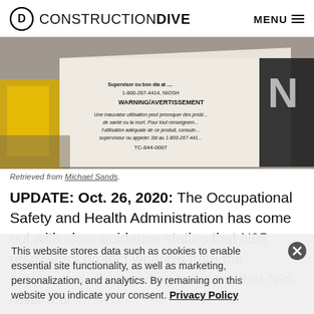CONSTRUCTION DIVE   MENU
[Figure (photo): Close-up photo of an N95 respirator/mask packaging label showing WARNING/AVERTISSEMENT text in French and English, with NIOSH certification number 1-800-267-4414 visible]
Retrieved from Michael Sands.
UPDATE: Oct. 26, 2020: The Occupational Safety and Health Administration has come out with clear guidance stating that N95 respirators protect wearers from the coronavirus. Responding to claims that N95 respirator
This website stores data such as cookies to enable essential site functionality, as well as marketing, personalization, and analytics. By remaining on this website you indicate your consent. Privacy Policy